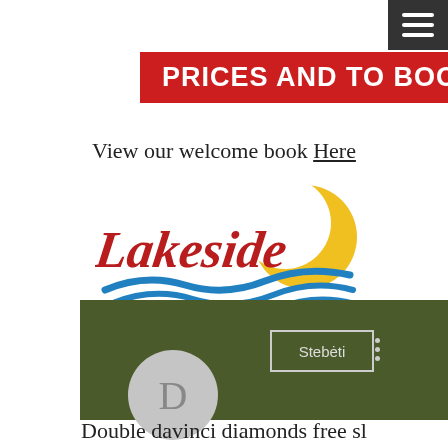[Figure (other): Hamburger menu icon button, dark grey background, three white horizontal lines]
PRICES AND TO BOOK
View our welcome book Here
[Figure (logo): Lakeside Naturist Holiday Resort logo: red cursive Lakeside text, blue wave swooshes, yellow crescent moon/sun, red italic Naturist Holiday Resort text below]
[Figure (screenshot): Dark olive green banner with Stebeti button outlined in light grey, three vertical dots menu icon, and a grey circular avatar with letter D]
Double davinci diamonds free sl